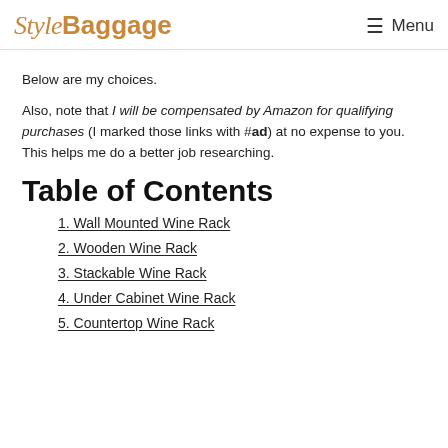StyleBaggage  Menu
Below are my choices.
Also, note that I will be compensated by Amazon for qualifying purchases (I marked those links with #ad) at no expense to you. This helps me do a better job researching.
Table of Contents
1. Wall Mounted Wine Rack
2. Wooden Wine Rack
3. Stackable Wine Rack
4. Under Cabinet Wine Rack
5. Countertop Wine Rack